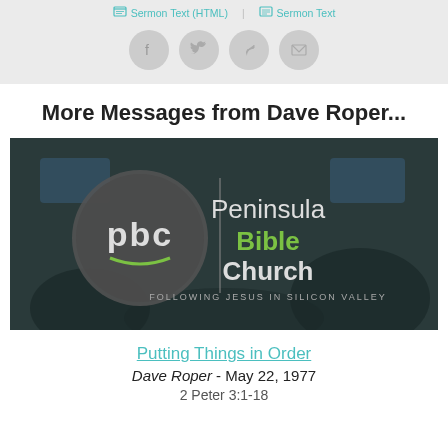[Figure (screenshot): Top bar with sermon text links (HTML and plain) and social share icon buttons (Facebook, Twitter, share, email) on a light gray background]
More Messages from Dave Roper...
[Figure (logo): Peninsula Bible Church logo - pbc circle logo with text 'Peninsula Bible Church - Following Jesus in Silicon Valley' on a dark blurred church interior background]
Putting Things in Order
Dave Roper - May 22, 1977
2 Peter 3:1-18